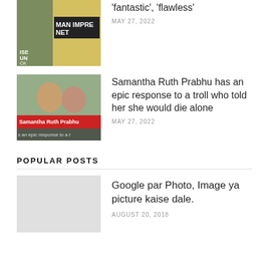[Figure (photo): Thumbnail image for article about 'fantastic', 'flawless' — partially visible, shows text MAN IMPRE and NET on yellow/dark background]
'fantastic', 'flawless'
MAY 27, 2022
[Figure (photo): Thumbnail showing Samantha Ruth Prabhu with another person, red banner overlay text 'Samantha Ruth Prabhu' and 's an epic response to a t']
Samantha Ruth Prabhu has an epic response to a troll who told her she would die alone
MAY 27, 2022
POPULAR POSTS
[Figure (photo): Thumbnail placeholder for Google par Photo article]
Google par Photo, Image ya picture kaise dale.
AUGUST 20, 2018